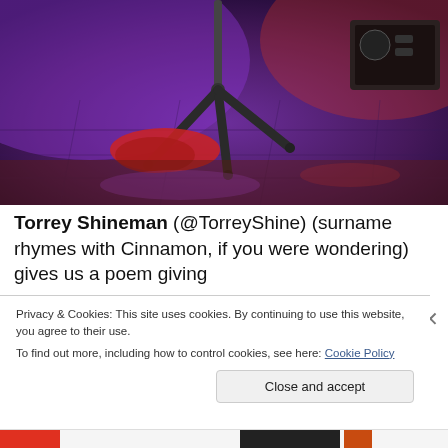[Figure (photo): Concert stage photo showing a microphone stand tripod base on a purple/red-lit stage floor, with some equipment including a red cloth and amplifier visible in the background]
Torrey Shineman (@TorreyShine) (surname rhymes with Cinnamon, if you were wondering) gives us a poem giving
Privacy & Cookies: This site uses cookies. By continuing to use this website, you agree to their use.
To find out more, including how to control cookies, see here: Cookie Policy
Close and accept